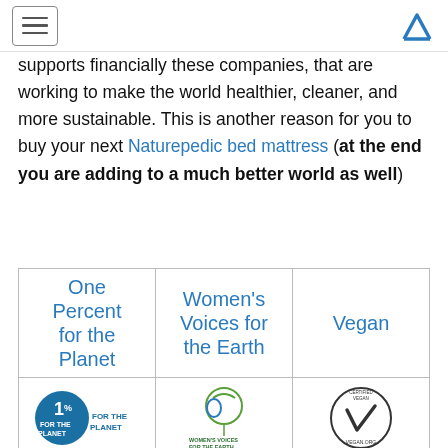[hamburger menu icon] [M logo]
supports financially these companies, that are working to make the world healthier, cleaner, and more sustainable. This is another reason for you to buy your next Naturepedic bed mattress (at the end you are adding to a much better world as well)
| One Percent for the Planet | Women's Voices for the Earth | Vegan |
| --- | --- | --- |
| [1% for the Planet logo] | [Women's Voices for the Earth logo] | [Certified Vegan logo] |